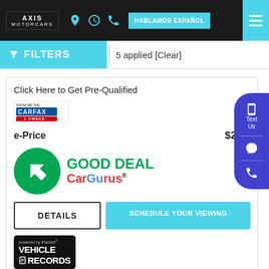[Figure (screenshot): Axis Motorcars dealership website screenshot showing navigation bar with logo, location/time/phone icons, Hablamos Español button, and hamburger menu]
FILTERS | 5 applied [Clear]
Click Here to Get Pre-Qualified
[Figure (logo): CARFAX Show Me the 1 Owner logo badge]
e-Price  $23,9
[Figure (logo): CarGurus Good Deal badge with green circle arrow and CarGurus logo]
DETAILS
SCHEDULE YOUR VIEWING
[Figure (logo): iPacket Vehicle Records logo badge]
All with no impact to your credit score